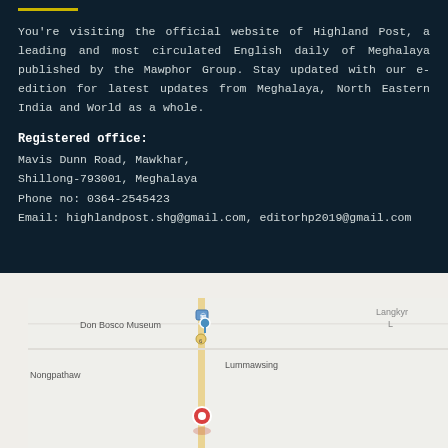You're visiting the official website of Highland Post, a leading and most circulated English daily of Meghalaya published by the Mawphor Group. Stay updated with our e-edition for latest updates from Meghalaya, North Eastern India and World as a whole.
Registered office:
Mavis Dunn Road, Mawkhar,
Shillong-793001, Meghalaya
Phone no: 0364-2545423
Email: highlandpost.shg@gmail.com, editorhp2019@gmail.com
[Figure (map): Google Maps view showing the area around Mawkhar, Shillong with landmarks including Don Bosco Museum, Nongpathaw, Lummawsing, and Langkyrdem. A red location pin marks the office location.]